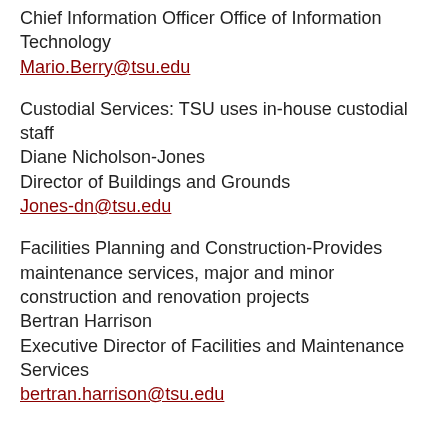Chief Information Officer Office of Information Technology
Mario.Berry@tsu.edu
Custodial Services: TSU uses in-house custodial staff
Diane Nicholson-Jones
Director of Buildings and Grounds
Jones-dn@tsu.edu
Facilities Planning and Construction-Provides maintenance services, major and minor construction and renovation projects
Bertran Harrison
Executive Director of Facilities and Maintenance Services
bertran.harrison@tsu.edu